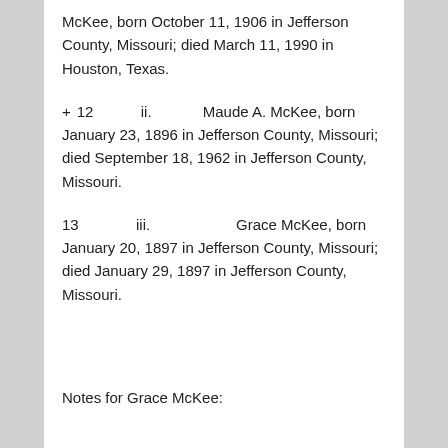McKee, born October 11, 1906 in Jefferson County, Missouri; died March 11, 1990 in Houston, Texas.
+ 12 ii. Maude A. McKee, born January 23, 1896 in Jefferson County, Missouri; died September 18, 1962 in Jefferson County, Missouri.
13 iii. Grace McKee, born January 20, 1897 in Jefferson County, Missouri; died January 29, 1897 in Jefferson County, Missouri.
Notes for Grace McKee: